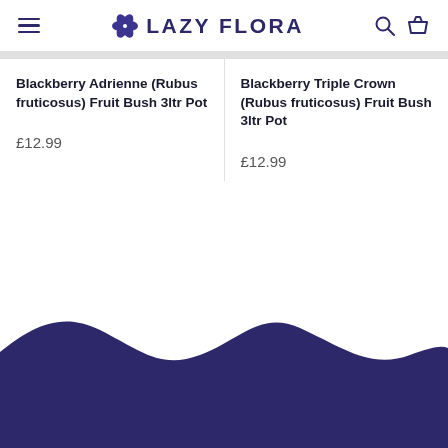LAZY FLORA
Blackberry Adrienne (Rubus fruticosus) Fruit Bush 3ltr Pot
£12.99
Blackberry Triple Crown (Rubus fruticosus) Fruit Bush 3ltr Pot
£12.99
[Figure (illustration): Dark navy blue wavy footer shape at bottom of page]